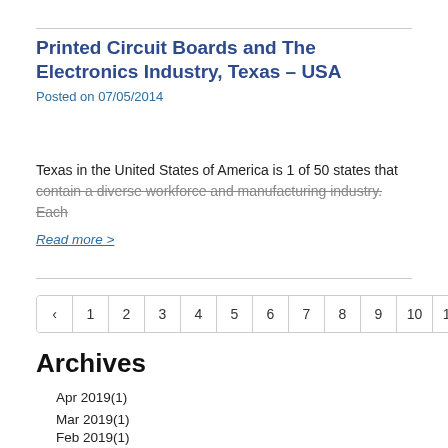Printed Circuit Boards and The Electronics Industry, Texas – USA
Posted on 07/05/2014
Texas in the United States of America is 1 of 50 states that contain a diverse workforce and manufacturing industry. Each
Read more >
‹ 1 2 3 4 5 6 7 8 9 10 11 12 13 ›
Archives
Apr 2019(1)
Mar 2019(1)
Feb 2019(1)